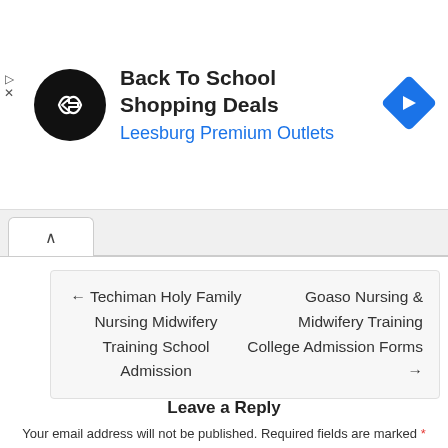[Figure (infographic): Advertisement banner: Back To School Shopping Deals at Leesburg Premium Outlets with black circular logo and blue diamond arrow icon]
← Techiman Holy Family Nursing Midwifery Training School Admission
Goaso Nursing & Midwifery Training College Admission Forms →
Leave a Reply
Your email address will not be published. Required fields are marked *
Comment *